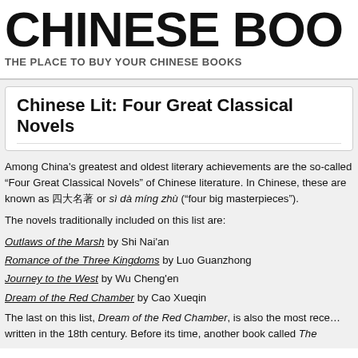CHINESE BOO
THE PLACE TO BUY YOUR CHINESE BOOKS
Chinese Lit: Four Great Classical Novels
Among China's greatest and oldest literary achievements are the so-called “Four Great Classical Novels” of Chinese literature. In Chinese, these are known as 四大名著 or sì dà míng zhù (“four big masterpieces”).
The novels traditionally included on this list are:
Outlaws of the Marsh by Shi Nai'an
Romance of the Three Kingdoms by Luo Guanzhong
Journey to the West by Wu Cheng'en
Dream of the Red Chamber by Cao Xueqin
The last on this list, Dream of the Red Chamber, is also the most rece… written in the 18th century. Before its time, another book called The